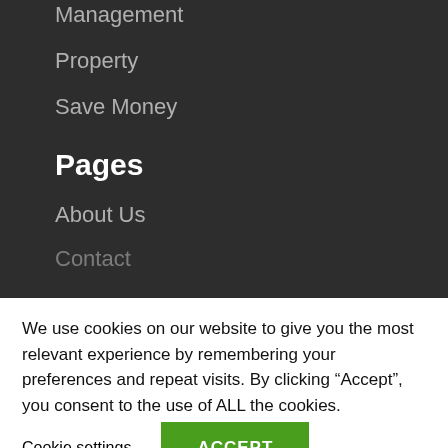Management
Property
Save Money
Pages
About Us
Contact
We use cookies on our website to give you the most relevant experience by remembering your preferences and repeat visits. By clicking “Accept”, you consent to the use of ALL the cookies.
Cookie settings
ACCEPT